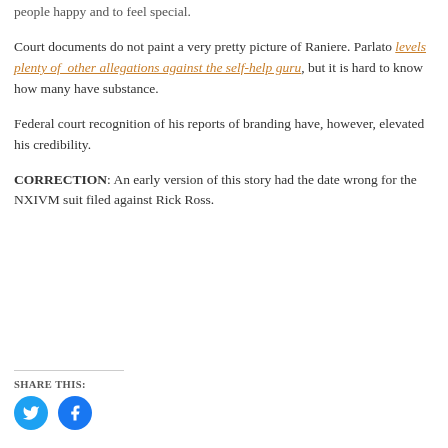people happy and to feel special.
Court documents do not paint a very pretty picture of Raniere. Parlato levels plenty of other allegations against the self-help guru, but it is hard to know how many have substance.
Federal court recognition of his reports of branding have, however, elevated his credibility.
CORRECTION: An early version of this story had the date wrong for the NXIVM suit filed against Rick Ross.
SHARE THIS: